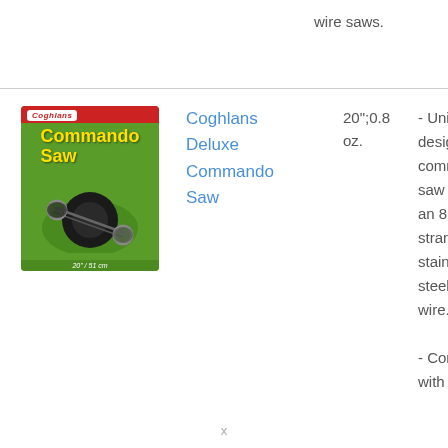wire saws.
[Figure (photo): Product packaging for Coghlans Commando Saw, green background with yellow title text 'Commando Saw', showing a black wire saw with rings, label reads 20" / 51 cm]
Coghlans Deluxe Commando Saw
20";0.8 oz.
- Uniquely designed commando saw with an 8-strand stainless steel blade wire.
- Comes with nylon